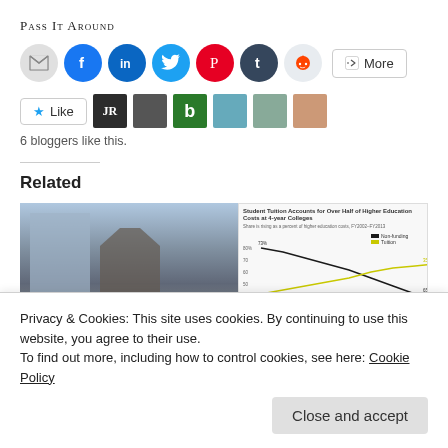Pass It Around
[Figure (infographic): Social sharing icons: email, Facebook, LinkedIn, Twitter, Pinterest, Tumblr, Reddit, and a More button]
[Figure (infographic): Like button with star icon and 6 blogger avatar thumbnails]
6 bloggers like this.
Related
[Figure (photo): Related content images: building/church photo and a line chart titled 'Student Tuition Accounts for Over Half of Higher Education Costs at 4-year Colleges']
Privacy & Cookies: This site uses cookies. By continuing to use this website, you agree to their use.
To find out more, including how to control cookies, see here: Cookie Policy
Close and accept